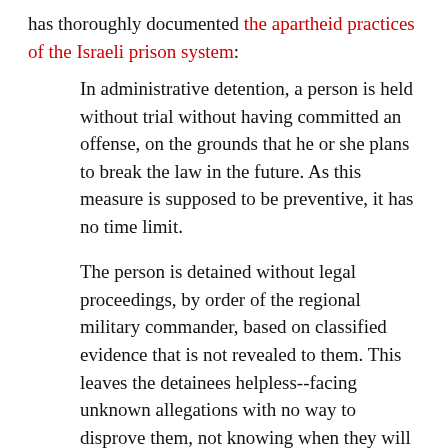has thoroughly documented the apartheid practices of the Israeli prison system:
In administrative detention, a person is held without trial without having committed an offense, on the grounds that he or she plans to break the law in the future. As this measure is supposed to be preventive, it has no time limit.
The person is detained without legal proceedings, by order of the regional military commander, based on classified evidence that is not revealed to them. This leaves the detainees helpless--facing unknown allegations with no way to disprove them, not knowing when they will be released, and, without being charged, tried or convicted...
The power to incarcerate people who have not been convicted or even charged with anything brings the principle of innocent until proven